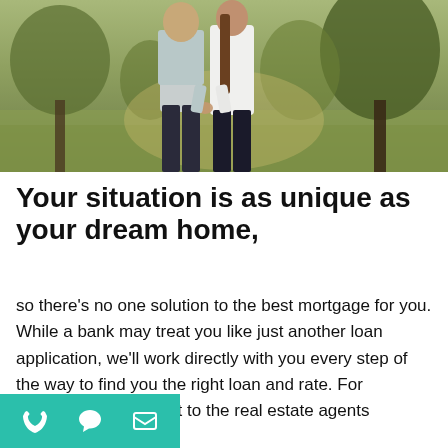[Figure (photo): A couple standing together outdoors in a park, the man wearing a light blue shirt and dark jeans, the woman wearing a white blouse and dark pants, holding hands, with green trees and grass in the background.]
Your situation is as unique as your dream home,
so there’s no one solution to the best mortgage for you. While a bank may treat you like just another loan application, we’ll work directly with you every step of the way to find you the right loan and rate. For homebuyers, …ch out to the real estate agents